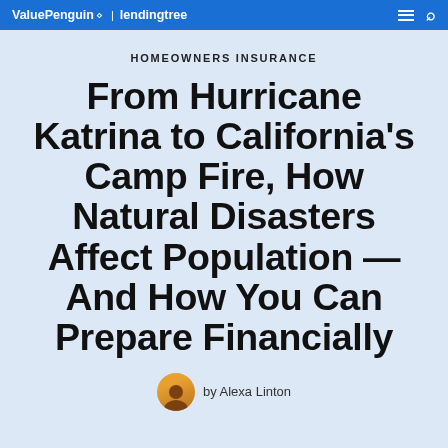ValuePenguin | lendingtree
HOMEOWNERS INSURANCE
From Hurricane Katrina to California’s Camp Fire, How Natural Disasters Affect Population — And How You Can Prepare Financially
by Alexa Linton